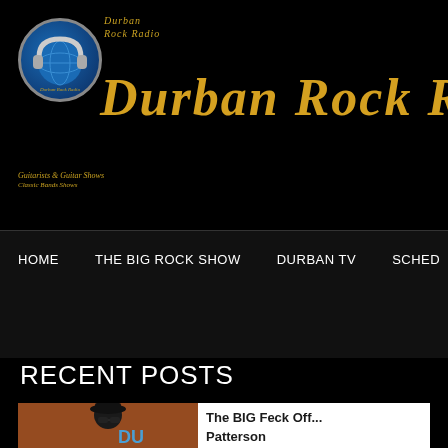[Figure (logo): Durban Rock Radio logo with headphones over a globe and script text]
Durban Rock Ra
HOME | THE BIG ROCK SHOW | DURBAN TV | SCHED...
RECENT POSTS
[Figure (photo): Person wearing sunglasses and black hat in front of a brick wall with graffiti reading DU...]
The BIG Feck Off... Patterson